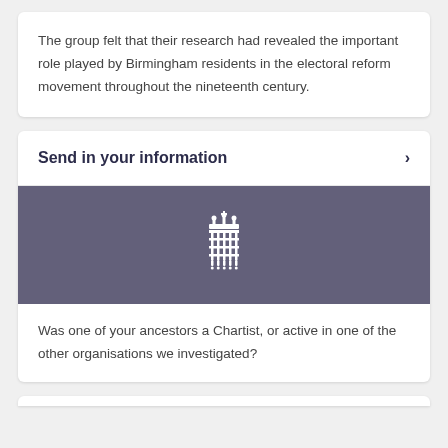The group felt that their research had revealed the important role played by Birmingham residents in the electoral reform movement throughout the nineteenth century.
Send in your information
[Figure (logo): UK Parliament portcullis logo in white on a muted purple/grey background banner]
Was one of your ancestors a Chartist, or active in one of the other organisations we investigated?